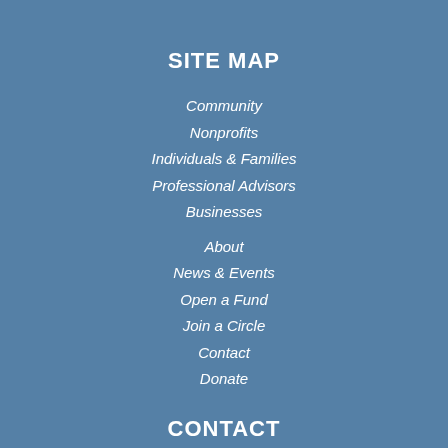SITE MAP
Community
Nonprofits
Individuals & Families
Professional Advisors
Businesses
About
News & Events
Open a Fund
Join a Circle
Contact
Donate
CONTACT